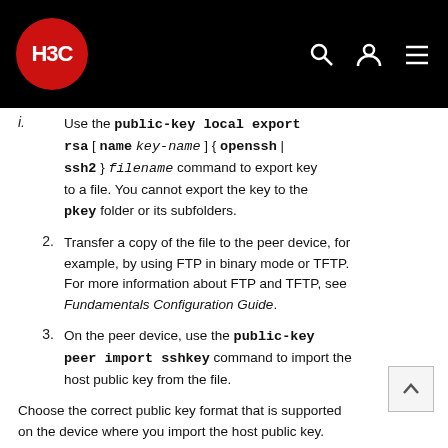[Figure (logo): H3C logo on black header bar with search, user, and menu icons]
Use the public-key local export rsa [ name key-name ] { openssh | ssh2 } filename command to export key to a file. You cannot export the key to the pkey folder or its subfolders.
Transfer a copy of the file to the peer device, for example, by using FTP in binary mode or TFTP. For more information about FTP and TFTP, see Fundamentals Configuration Guide.
On the peer device, use the public-key peer import sshkey command to import the host public key from the file.
Choose the correct public key format that is supported on the device where you import the host public key.
Examples